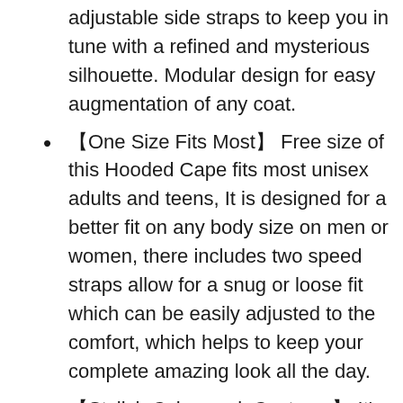adjustable side straps to keep you in tune with a refined and mysterious silhouette. Modular design for easy augmentation of any coat.
【One Size Fits Most】 Free size of this Hooded Cape fits most unisex adults and teens, It is designed for a better fit on any body size on men or women, there includes two speed straps allow for a snug or loose fit which can be easily adjusted to the comfort, which helps to keep your complete amazing look all the day.
【Stylish Cyberpunk Costume】 It's not only a fashionable unisex Rogue cowl but also a very practical warm neck warmer, that protects its owner from the cold in the winter and spring and gives the image a perfect look. It will look attractive with the street style, gothic, steam cyber punk rock clothing.
【Outstanding Quality】 This Hooded scarf is made of a medium weight cotton twill with accented